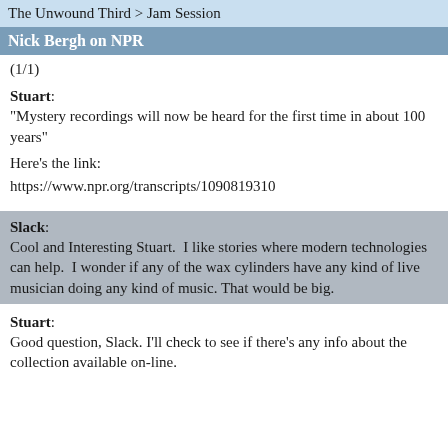The Unwound Third > Jam Session
Nick Bergh on NPR
(1/1)
Stuart:
"Mystery recordings will now be heard for the first time in about 100 years"
Here's the link:
https://www.npr.org/transcripts/1090819310
Slack:
Cool and Interesting Stuart.  I like stories where modern technologies can help.  I wonder if any of the wax cylinders have any kind of live musician doing any kind of music. That would be big.
Stuart:
Good question, Slack. I'll check to see if there's any info about the collection available on-line.